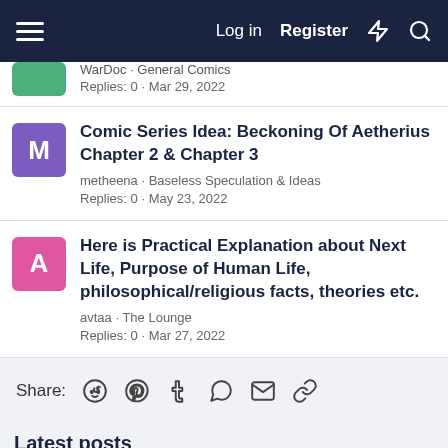Log in  Register
WarDoc · General Comics
Replies: 0 · Mar 29, 2022
Comic Series Idea: Beckoning Of Aetherius Chapter 2 & Chapter 3
metheena · Baseless Speculation & Ideas
Replies: 0 · May 23, 2022
Here is Practical Explanation about Next Life, Purpose of Human Life, philosophical/religious facts, theories etc.
avtaa · The Lounge
Replies: 0 · Mar 27, 2022
Share:
Latest posts